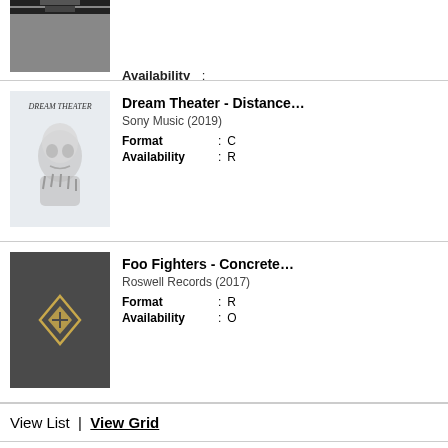[Figure (photo): Partially visible album art at top of page (cropped)]
Availability :
[Figure (photo): Dream Theater album art - Distance Over Time (2019), showing a robotic hand holding a skull]
Dream Theater - Distan...
Sony Music (2019)
Format :
Availability :
[Figure (photo): Foo Fighters - Concrete and Gold album art, dark grey with gold diamond logo]
Foo Fighters - Concrete...
Roswell Records (2017)
Format :
Availability :
View List  |  View Grid
Design and Development by Seven Spikes - www.7spikes.com